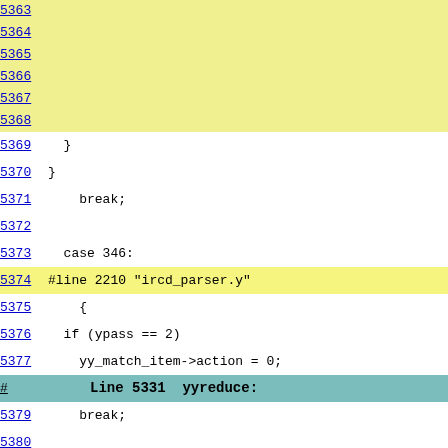Code listing with line numbers from 5363 to 5387
5363 (empty, yellow background)
5364 (empty, yellow background)
5365 (empty, yellow background)
5366 (empty, yellow background)
5367 (empty, yellow background)
5368 (empty, yellow background)
5369   }
5370 }
5371     break;
5372 (empty)
5373   case 346:
5374 #line 2210 "ircd_parser.y" (yellow background)
5375     {
5376   if (ypass == 2)
5377     yy_match_item->action = 0;
#     Line 5331  yyreduce: (teal background)
5379     break;
5380 (empty)
5381   case 350:
5382 #line 2217 "ircd_parser.y" (yellow background)
5383     {
5384   if (ypass == 2)
5385     yy_match_item->action |= SHARED_KLINE;
#     Line 5339  yyreduce: (teal background)
5387     break;